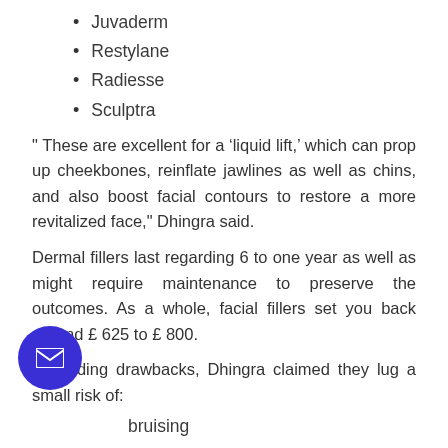Juvaderm
Restylane
Radiesse
Sculptra
" These are excellent for a ‘liquid lift,’ which can prop up cheekbones, reinflate jawlines as well as chins, and also boost facial contours to restore a more revitalized face," Dhingra said.
Dermal fillers last regarding 6 to one year as well as might require maintenance to preserve the outcomes. As a whole, facial fillers set you back around £ 625 to £ 800.
Regarding drawbacks, Dhingra claimed they lug a small risk of:
bruising
swelling